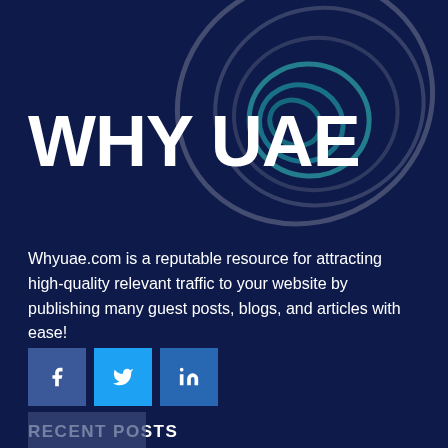[Figure (logo): WHY UAE logo with circular swirl graphic in teal and gray on dark navy background]
Whyuae.com is a reputable resource for attracting high-quality relevant traffic to your website by publishing many guest posts, blogs, and articles with ease!
[Figure (infographic): Social media icons: Facebook (f), Twitter (bird), LinkedIn (in)]
RECENT POSTS
[Figure (photo): Partial image thumbnail for a recent post]